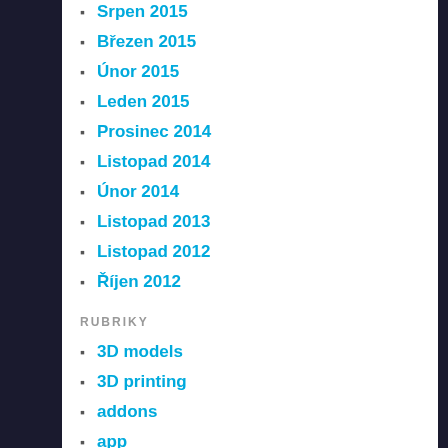Srpen 2015
Březen 2015
Únor 2015
Leden 2015
Prosinec 2014
Listopad 2014
Únor 2014
Listopad 2013
Listopad 2012
Říjen 2012
RUBRIKY
3D models
3D printing
addons
app
art
bang
battery
Blogosphere